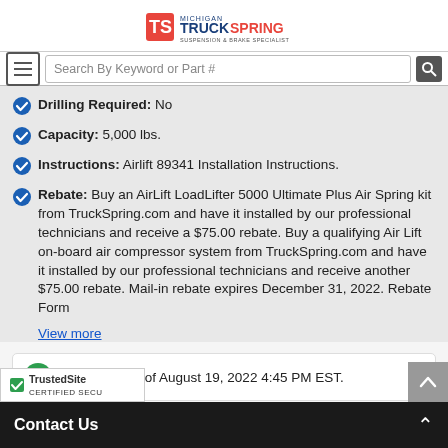Michigan TruckSpring - Suspension & Brake Specialist
Search By Keyword or Part #
Drilling Required: No
Capacity: 5,000 lbs.
Instructions: Airlift 89341 Installation Instructions.
Rebate: Buy an AirLift LoadLifter 5000 Ultimate Plus Air Spring kit from TruckSpring.com and have it installed by our professional technicians and receive a $75.00 rebate. Buy a qualifying Air Lift on-board air compressor system from TruckSpring.com and have it installed by our professional technicians and receive another $75.00 rebate. Mail-in rebate expires December 31, 2022. Rebate Form
View more
1 In Stock as of August 19, 2022 4:45 PM EST.
TrustedSite CERTIFIED SECURE
Contact Us